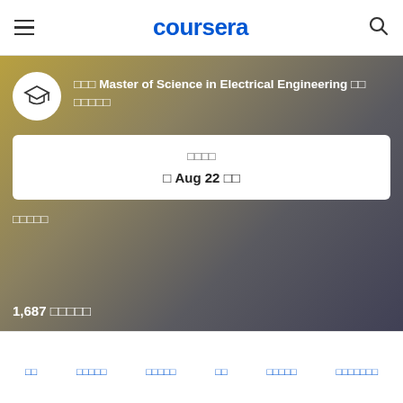coursera
□□□ Master of Science in Electrical Engineering □□ □□□□□
□□□□
□ Aug 22 □□
□□□□□
1,687 □□□□□
□□  □□□□□  □□□□□  □□  □□□□□  □□□□□□□